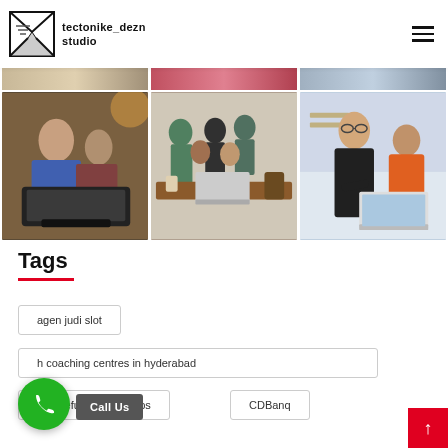tectonike_dezn studio
[Figure (photo): Three photos in top strip (partial): workspace/desk scene, pink/red partial, office scene]
[Figure (photo): Three photos in main row: two people working on laptop, group of people around a table with laptop, two men looking at laptop]
Tags
agen judi slot
h coaching centres in hyderabad
best refubished laptops
CDBanq